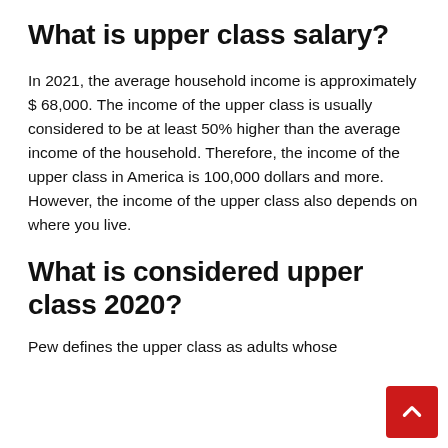What is upper class salary?
In 2021, the average household income is approximately $ 68,000. The income of the upper class is usually considered to be at least 50% higher than the average income of the household. Therefore, the income of the upper class in America is 100,000 dollars and more. However, the income of the upper class also depends on where you live.
What is considered upper class 2020?
Pew defines the upper class as adults whose